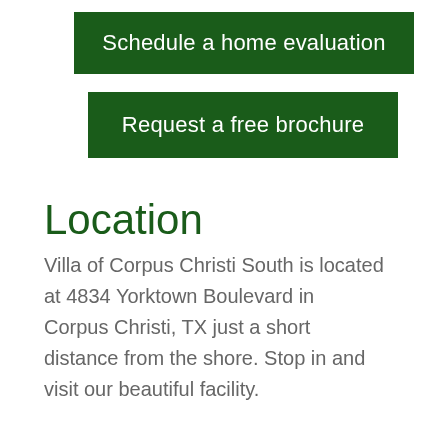Schedule a home evaluation
Request a free brochure
Location
Villa of Corpus Christi South is located at 4834 Yorktown Boulevard in Corpus Christi, TX just a short distance from the shore. Stop in and visit our beautiful facility.